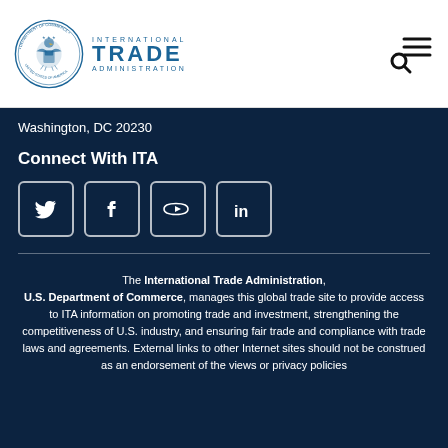[Figure (logo): U.S. Department of Commerce seal and International Trade Administration logo in header]
[Figure (other): Search and hamburger menu navigation icons in top right]
Washington, DC 20230
Connect With ITA
[Figure (other): Four social media icon boxes: Twitter, Facebook, YouTube, LinkedIn]
The International Trade Administration, U.S. Department of Commerce, manages this global trade site to provide access to ITA information on promoting trade and investment, strengthening the competitiveness of U.S. industry, and ensuring fair trade and compliance with trade laws and agreements. External links to other Internet sites should not be construed as an endorsement of the views or privacy policies